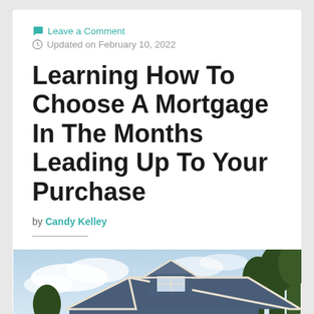💬 Leave a Comment
🕐 Updated on February 10, 2022
Learning How To Choose A Mortgage In The Months Leading Up To Your Purchase
by Candy Kelley
[Figure (photo): Exterior photo of a house with a dark blue/grey siding, gable roof with white trim, dormer window, and trees visible in the background against a partly cloudy sky.]